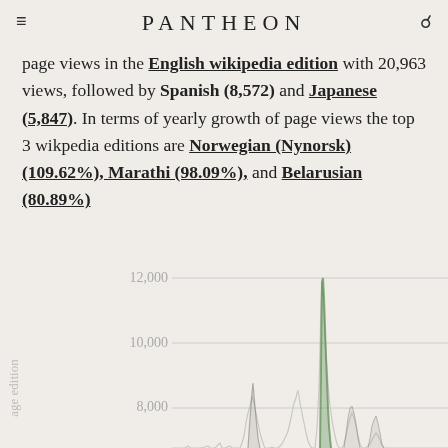PANTHEON
page views in the English wikipedia edition with 20,963 views, followed by Spanish (8,572) and Japanese (5,847). In terms of yearly growth of page views the top 3 wikpedia editions are Norwegian (Nynorsk) (109.62%), Marathi (98.09%), and Belarusian (80.89%)
[Figure (continuous-plot): Line chart showing page views by Wikipedia edition over time. Y-axis shows values from approximately 8,000 to 12,000. Multiple spikes visible, with large peak around 12,000 in green/dark color toward the right side of the chart. Y-axis label reads 'age edition' (partial, rotated).]